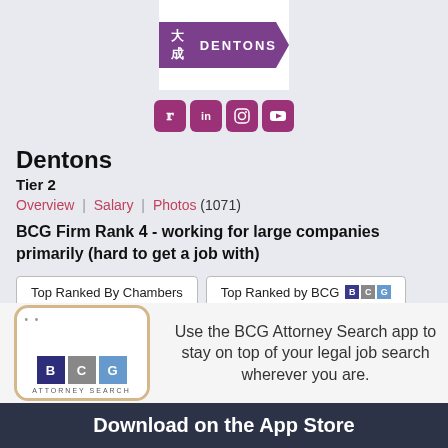[Figure (logo): Dentons law firm logo - purple arrow shape with text 大成DENTONS on white background]
[Figure (infographic): Social media icons row: Twitter, LinkedIn, Instagram, YouTube - pink/purple rounded squares]
Dentons
Tier 2
Overview | Salary | Photos (1071)
BCG Firm Rank 4 - working for large companies primarily (hard to get a job with)
Top Ranked By Chambers
Top Ranked by BCG
[Figure (infographic): BCG Attorney Search mobile app advertisement banner with phone graphic, BCG logo, and Download on the App Store button]